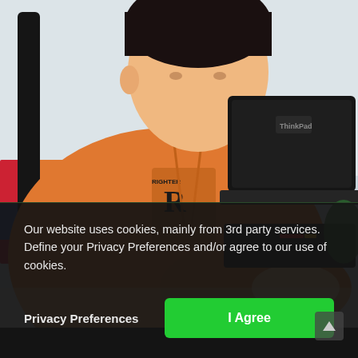[Figure (photo): A person wearing an orange hoodie sitting in a black office chair, working on a Lenovo ThinkPad laptop. There is a red storage cabinet visible on the left side.]
Our website uses cookies, mainly from 3rd party services. Define your Privacy Preferences and/or agree to our use of cookies.
Privacy Preferences
I Agree